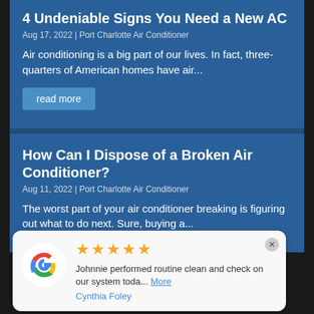4 Undeniable Signs You Need a New AC
Aug 17, 2022 | Port Charlotte Air Conditioner
Air conditioning is a big part of our lives. In fact, three-quarters of American homes have air...
read more
How Can I Dispose of a Broken Air Conditioner?
Aug 11, 2022 | Port Charlotte Air Conditioner
The worst part of your air conditioner breaking is figuring out what to do next. Sure, buying a...
read more
Johnnie performed routine clean and check on our system toda... More
Cynthia Foley